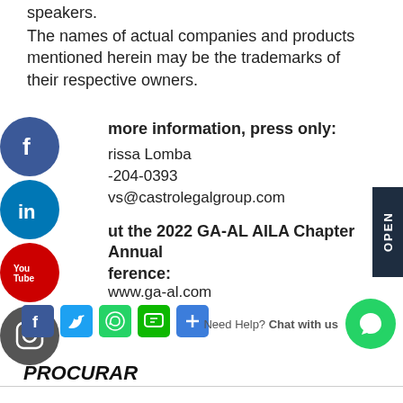speakers.
The names of actual companies and products mentioned herein may be the trademarks of their respective owners.
more information, press only:
rissa Lomba
-204-0393
vs@castrolegalgroup.com
ut the 2022 GA-AL AILA Chapter Annual ference:
www.ga-al.com
[Figure (infographic): Social media share icons: Facebook, Twitter, WhatsApp, SMS, Share/Plus]
Need Help? Chat with us
PROCURAR